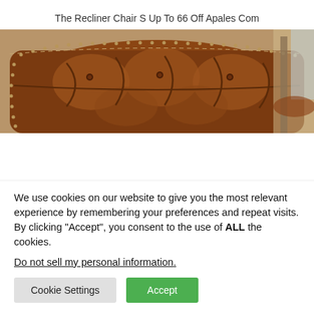The Recliner Chair S Up To 66 Off Apales Com
[Figure (photo): Close-up photo of a tufted brown leather recliner chair with nailhead trim detail, shot from above showing the backrest and armrest area. A wooden surface and glass table edge are visible in the upper right corner.]
We use cookies on our website to give you the most relevant experience by remembering your preferences and repeat visits. By clicking “Accept”, you consent to the use of ALL the cookies.
Do not sell my personal information.
Cookie Settings
Accept